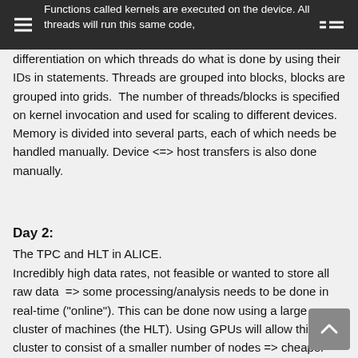Functions called kernels are executed on the device. All threads will run this same code,
differentiation on which threads do what is done by using their IDs in statements. Threads are grouped into blocks, blocks are grouped into grids.  The number of threads/blocks is specified on kernel invocation and used for scaling to different devices. Memory is divided into several parts, each of which needs be handled manually. Device <=> host transfers is also done manually.
Day 2:
The TPC and HLT in ALICE.
Incredibly high data rates, not feasible or wanted to store all raw data  => some processing/analysis needs to be done in real-time ("online"). This can be done now using a large cluster of machines (the HLT). Using GPUs will allow this cluster to consist of a smaller number of nodes => cheaper and will free resources for other things like offline analysis.